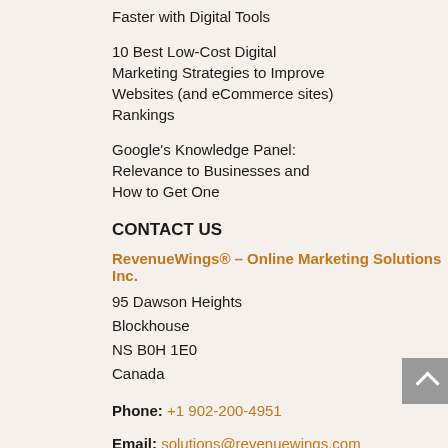Faster with Digital Tools
10 Best Low-Cost Digital Marketing Strategies to Improve Websites (and eCommerce sites) Rankings
Google's Knowledge Panel: Relevance to Businesses and How to Get One
CONTACT US
RevenueWings® – Online Marketing Solutions Inc.
95 Dawson Heights
Blockhouse
NS B0H 1E0
Canada
Phone: +1 902-200-4951
Email: solutions@revenuewings.com